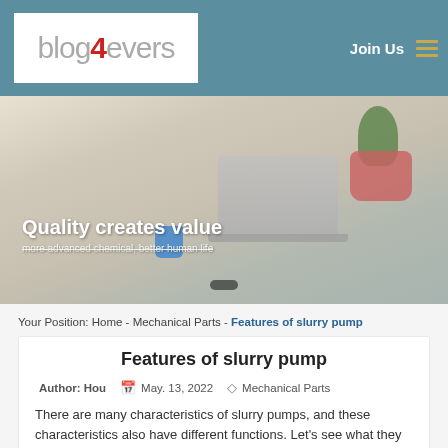blog4evers   Join Us
[Figure (photo): Banner image showing a laptop on a desk with a blue mug and plant, overlaid with text 'Quality creates value' and 'more advanced chemical, better human life']
Your Position: Home - Mechanical Parts - Features of slurry pump
Features of slurry pump
Author: Hou   May. 13, 2022   Mechanical Parts
There are many characteristics of slurry pumps, and these characteristics also have different functions. Let's see what they have! In order to meet the development needs of the electric power industry, metallurgical industry, coal industry, etc., the slurry pump has made